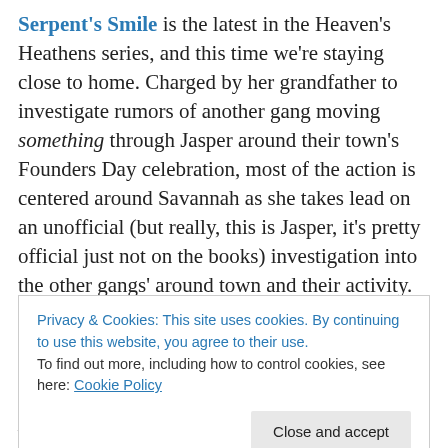Serpent's Smile is the latest in the Heaven's Heathens series, and this time we're staying close to home. Charged by her grandfather to investigate rumors of another gang moving something through Jasper around their town's Founders Day celebration, most of the action is centered around Savannah as she takes lead on an unofficial (but really, this is Jasper, it's pretty official just not on the books) investigation into the other gangs' around town and their activity. Meanwhile, Gideon is still feeling out his place in the pack, and gets exasperated pretty quickly with the new meat syndrome going on. Savannah proves to be
Privacy & Cookies: This site uses cookies. By continuing to use this website, you agree to their use.
To find out more, including how to control cookies, see here: Cookie Policy
talking about a motorcycle club of werewolves—they rarely